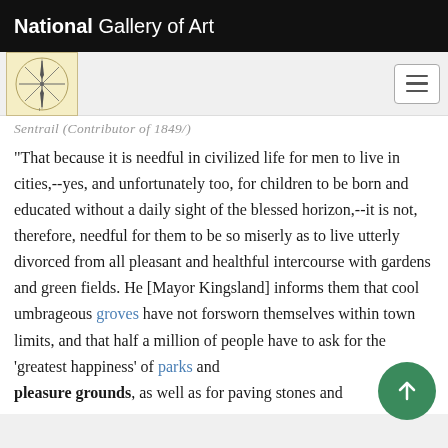National Gallery of Art
"That because it is needful in civilized life for men to live in cities,--yes, and unfortunately too, for children to be born and educated without a daily sight of the blessed horizon,--it is not, therefore, needful for them to be so miserly as to live utterly divorced from all pleasant and healthful intercourse with gardens and green fields. He [Mayor Kingsland] informs them that cool umbrageous groves have not forsworn themselves within town limits, and that half a million of people have to ask for the 'greatest happiness' of parks and pleasure grounds, as well as for paving stones and